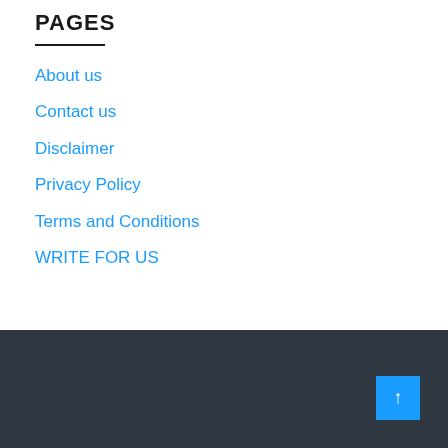PAGES
About us
Contact us
Disclaimer
Privacy Policy
Terms and Conditions
WRITE FOR US